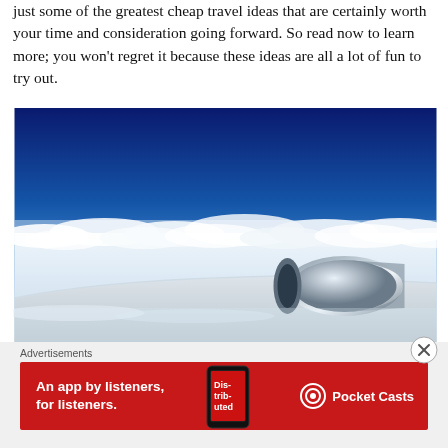just some of the greatest cheap travel ideas that are certainly worth your time and consideration going forward. So read now to learn more; you won't regret it because these ideas are all a lot of fun to try out.
[Figure (photo): View from an airplane window showing the jet engine nacelle above a blanket of white clouds with a deep blue sky above, taken from inside the aircraft cabin.]
Advertisements
[Figure (screenshot): Red advertisement banner for Pocket Casts podcast app featuring text 'An app by listeners, for listeners.' with a phone showing 'Distributed' podcast and the Pocket Casts logo.]